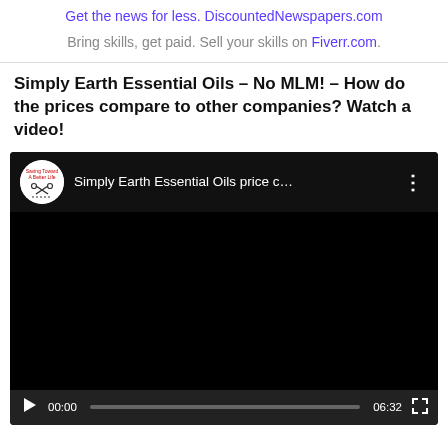Get the news for less. DiscountedNewspapers.com
Bring skills, get paid. Sell your skills on Fiverr.com.
Simply Earth Essential Oils – No MLM! – How do the prices compare to other companies? Watch a video!
[Figure (screenshot): YouTube video player screenshot showing 'Simply Earth Essential Oils price c...' with a channel icon for 'Saving Toward A Better Life', video controls showing 00:00 current time and 06:32 total duration, progress bar, play button, and fullscreen button.]